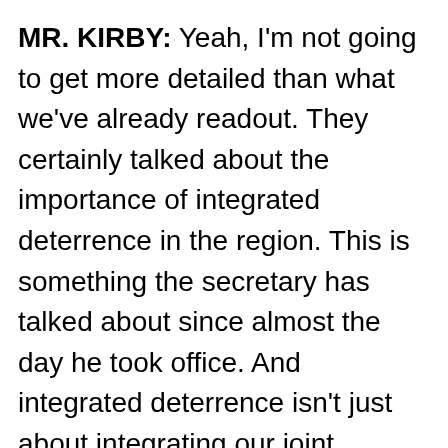MR. KIRBY: Yeah, I'm not going to get more detailed than what we've already readout. They certainly talked about the importance of integrated deterrence in the region. This is something the secretary has talked about since almost the day he took office. And integrated deterrence isn't just about integrating our joint capabilities. It's about integrating allies' and partners' capabilities in conjunction with ours. To deter potential adversarial action. And that certainly applies when you're talking about the pacing challenge that China represents. It certainly was discussed today with Minister Kishi. But I'd let the Japanese speak to specific